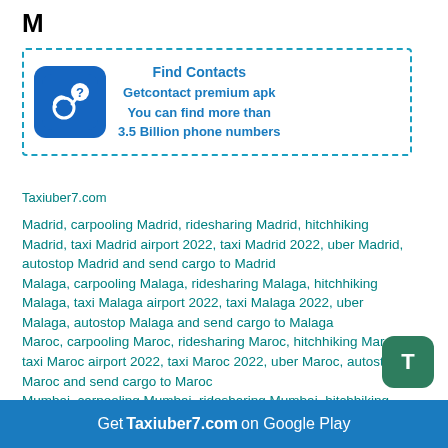M
[Figure (infographic): Advertisement box with dashed teal border. Contains a blue rounded square icon with a phone and question mark logo on the left. Text on the right reads: Find Contacts / Getcontact premium apk / You can find more than / 3.5 Billion phone numbers]
Taxiuber7.com
Madrid, carpooling Madrid, ridesharing Madrid, hitchhiking Madrid, taxi Madrid airport 2022, taxi Madrid 2022, uber Madrid, autostop Madrid and send cargo to Madrid
Malaga, carpooling Malaga, ridesharing Malaga, hitchhiking Malaga, taxi Malaga airport 2022, taxi Malaga 2022, uber Malaga, autostop Malaga and send cargo to Malaga
Maroc, carpooling Maroc, ridesharing Maroc, hitchhiking Maroc, taxi Maroc airport 2022, taxi Maroc 2022, uber Maroc, autostop Maroc and send cargo to Maroc
Mumbai, carpooling Mumbai, ridesharing Mumbai, hitchhiking Mumbai, taxi Mumbai airport 2022, taxi Mumbai 2022, uber Mumbai, autostop Mumbai and
Get Taxiuber7.com on Google Play